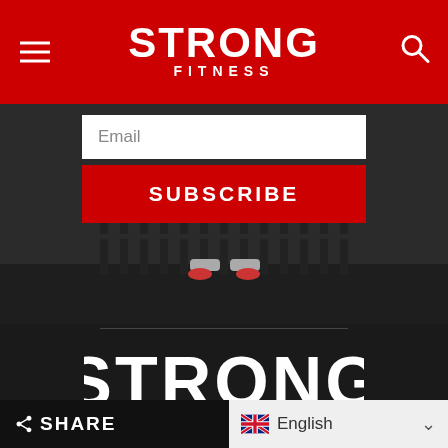STRONG FITNESS
Email
SUBSCRIBE
[Figure (photo): Gym background showing person exercising near a dumbbell rack]
[Figure (logo): STRONG FITNESS logo in white on dark background]
SHARE  English